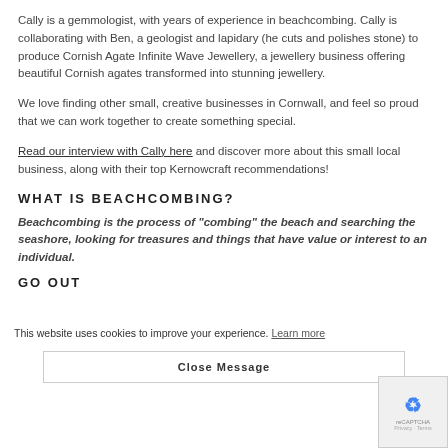Cally is a gemmologist, with years of experience in beachcombing. Cally is collaborating with Ben, a geologist and lapidary (he cuts and polishes stone) to produce Cornish Agate Infinite Wave Jewellery, a jewellery business offering beautiful Cornish agates transformed into stunning jewellery.
We love finding other small, creative businesses in Cornwall, and feel so proud that we can work together to create something special.
Read our interview with Cally here and discover more about this small local business, along with their top Kernowcraft recommendations!
WHAT IS BEACHCOMBING?
Beachcombing is the process of "combing" the beach and searching the seashore, looking for treasures and things that have value or interest to an individual.
GO OUT
This website uses cookies to improve your experience. Learn more
Close Message